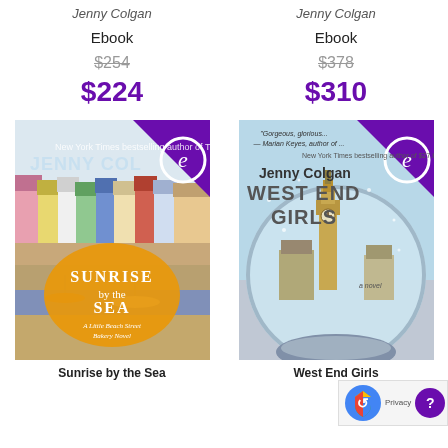Jenny Colgan
Jenny Colgan
Ebook
Ebook
$254
$378
$224
$310
[Figure (photo): Book cover of Sunrise by the Sea by Jenny Colgan, showing colorful seaside houses and an orange decorative label]
[Figure (photo): Book cover of West End Girls by Jenny Colgan, showing a snow globe with Big Ben inside]
Sunrise by the Sea
West End Girls